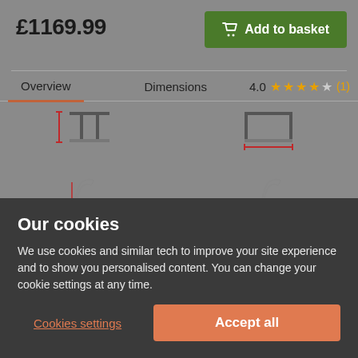£1169.99
Add to basket
Overview
Dimensions
4.0 (1)
[Figure (engineering-diagram): Furniture dimension diagram showing overall height measurement with red indicator lines on a chair/table from front view]
Overall height:
99.0 cm
[Figure (engineering-diagram): Furniture dimension diagram showing overall width measurement with red indicator lines on a chair from side/front view]
Overall width:
48.0 cm
Our cookies
We use cookies and similar tech to improve your site experience and to show you personalised content. You can change your cookie settings at any time.
Cookies settings
Accept all